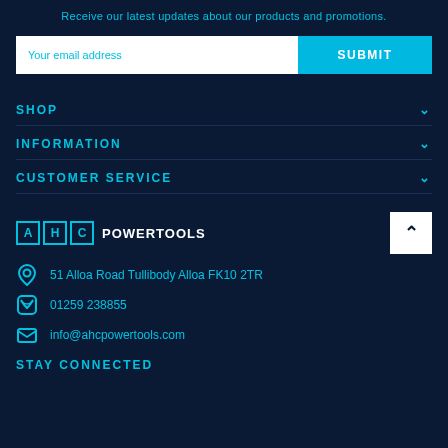Receive our latest updates about our products and promotions.
Your email address
SUBMIT
SHOP
INFORMATION
CUSTOMER SERVICE
[Figure (logo): AHC Powertools logo with three letter boxes A, H, C and text POWERTOOLS]
51 Alloa Road Tullibody Alloa FK10 2TR
01259 238855
info@ahcpowertools.com
STAY CONNECTED